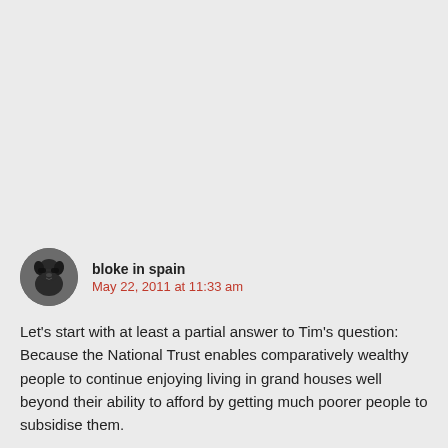[Figure (illustration): Circular avatar image of a dog wearing sunglasses]
bloke in spain
May 22, 2011 at 11:33 am
Let's start with at least a partial answer to Tim's question: Because the National Trust enables comparatively wealthy people to continue enjoying living in grand houses well beyond their ability to afford by getting much poorer people to subsidise them.